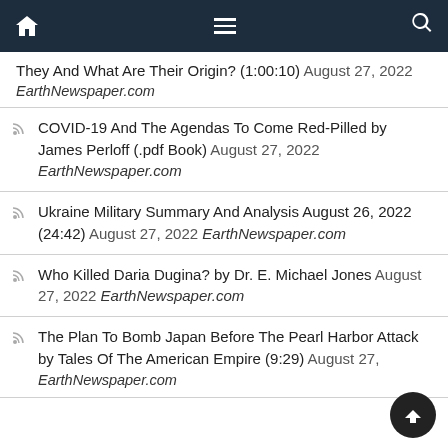Navigation bar with home, menu, and search icons
They And What Are Their Origin? (1:00:10) August 27, 2022 EarthNewspaper.com
COVID-19 And The Agendas To Come Red-Pilled by James Perloff (.pdf Book) August 27, 2022 EarthNewspaper.com
Ukraine Military Summary And Analysis August 26, 2022 (24:42) August 27, 2022 EarthNewspaper.com
Who Killed Daria Dugina? by Dr. E. Michael Jones August 27, 2022 EarthNewspaper.com
The Plan To Bomb Japan Before The Pearl Harbor Attack by Tales Of The American Empire (9:29) August 27, EarthNewspaper.com